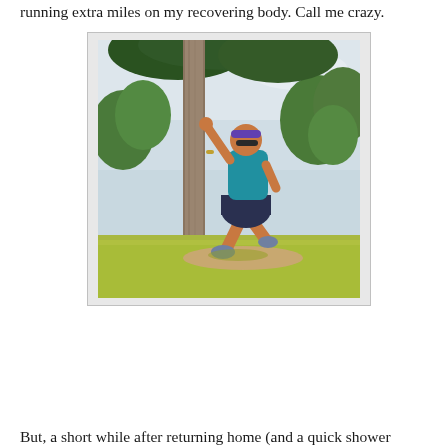running extra miles on my recovering body. Call me crazy.
[Figure (photo): A woman in a blue tank top and dark shorts stretching against a wooden utility pole in a park. She wears a colorful headband and running shoes. Trees and a cloudy sky are visible in the background. The image is color-enhanced with vivid greens and warm tones.]
But, a short while after returning home (and a quick shower